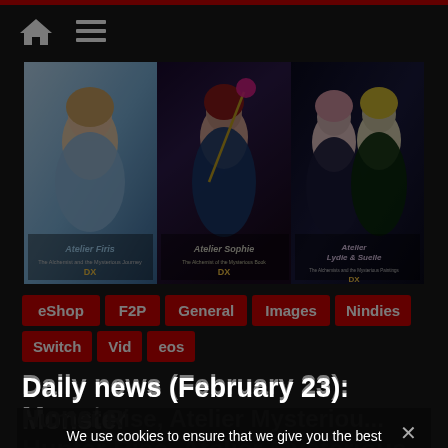Navigation bar with home icon and menu icon
[Figure (illustration): Three anime-style game covers side by side: Atelier Firis DX (left), Atelier Sophie DX (center), Atelier Lydie & Suelle DX (right)]
eShop
F2P
General
Images
Nindies
Switch
Videos
Daily news (February 23): Monster Hunter Rise, Atelier Mysterious Trilogy Deluxe Pack
23 February 2021 · Lite Agent · Atelier Mysterious Trilogy Deluxe Back, Capcom, Castlevania: Dawn of Sorrow, Drive-Buy,
We use cookies to ensure that we give you the best experience on our website. If you continue to use this site we will assume that you are happy with it. I understand Privacy policy